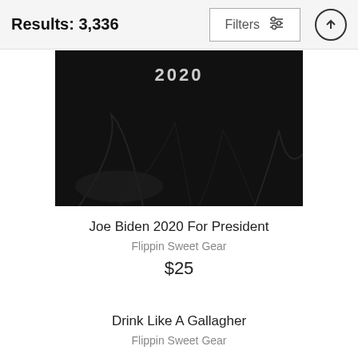Results: 3,336
Filters
[Figure (photo): A black fabric item (garment/mask) with '2020' text visible at the top, displayed against a white background]
Joe Biden 2020 For President
Flippin Sweet Gear
$25
Drink Like A Gallagher
Flippin Sweet Gear